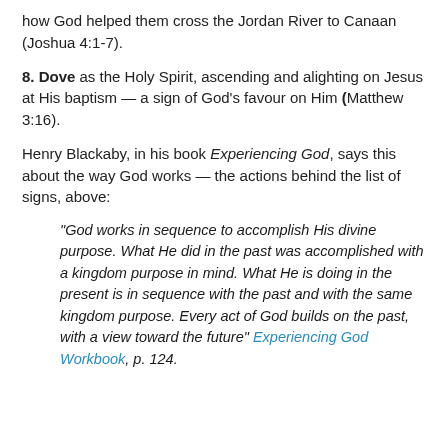how God helped them cross the Jordan River to Canaan (Joshua 4:1-7).
8. Dove as the Holy Spirit, ascending and alighting on Jesus at His baptism — a sign of God's favour on Him (Matthew 3:16).
Henry Blackaby, in his book Experiencing God, says this about the way God works — the actions behind the list of signs, above:
"God works in sequence to accomplish His divine purpose. What He did in the past was accomplished with a kingdom purpose in mind. What He is doing in the present is in sequence with the past and with the same kingdom purpose. Every act of God builds on the past, with a view toward the future" Experiencing God Workbook, p. 124.